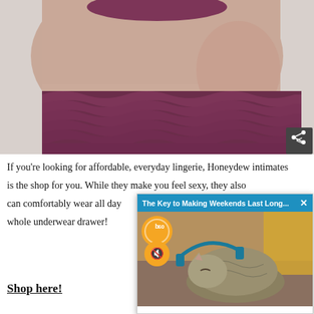[Figure (photo): Close-up photo of a woman wearing dark burgundy/purple ruffled lingerie underwear against a light gray background]
If you're looking for affordable, everyday lingerie, Honeydew intimates is the shop for you. While th[ey] make you feel sexy, they als[o make pieces you] can comfortably wear all da[y long. Revamp your] whole underwear drawer!
[Figure (screenshot): Video overlay popup with header 'The Key to Making Weekends Last Long...' and a b60 branded video showing a sleeping cat with headphones]
Shop here!